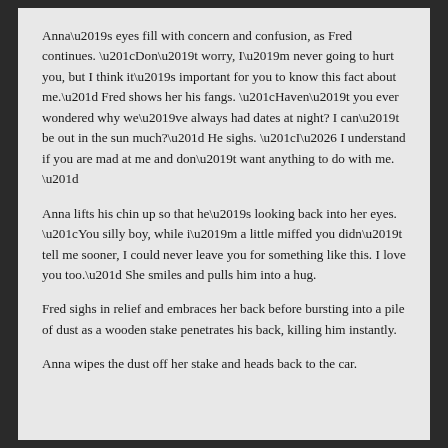Anna’s eyes fill with concern and confusion, as Fred continues. “Don’t worry, I’m never going to hurt you, but I think it’s important for you to know this fact about me.” Fred shows her his fangs. “Haven’t you ever wondered why we’ve always had dates at night? I can’t be out in the sun much?” He sighs. “I… I understand if you are mad at me and don’t want anything to do with me. ”
Anna lifts his chin up so that he’s looking back into her eyes. “You silly boy, while i’m a little miffed you didn’t tell me sooner, I could never leave you for something like this. I love you too.” She smiles and pulls him into a hug.
Fred sighs in relief and embraces her back before bursting into a pile of dust as a wooden stake penetrates his back, killing him instantly.
Anna wipes the dust off her stake and heads back to the car.